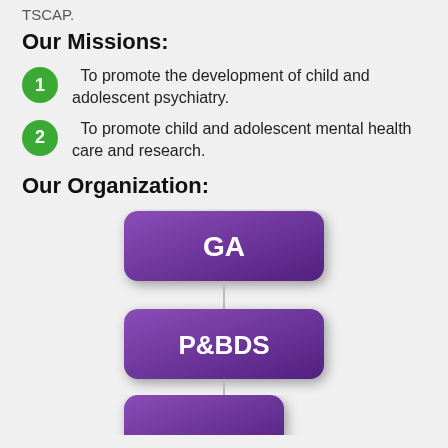TSCAP.
Our Missions:
To promote the development of child and adolescent psychiatry.
To promote child and adolescent mental health care and research.
Our Organization:
[Figure (organizational-chart): Organizational chart showing GA box at top connected by a line to P&BDS box below, with a partial third box at the bottom]